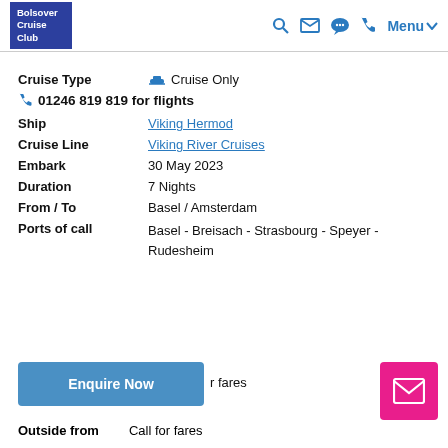Bolsover Cruise Club — Navigation header
Cruise Type: Cruise Only
📞 01246 819 819 for flights
Ship: Viking Hermod
Cruise Line: Viking River Cruises
Embark: 30 May 2023
Duration: 7 Nights
From / To: Basel / Amsterdam
Ports of call: Basel - Breisach - Strasbourg - Speyer - Rudesheim
Enquire Now
r fares
Outside from: Call for fares